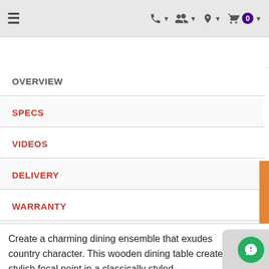≡  📞 ▾  👤+ ▾  📍 ▾  🛒 0 ▾
OVERVIEW
SPECS
VIDEOS
DELIVERY
WARRANTY
Create a charming dining ensemble that exudes country character. This wooden dining table creates a stylish focal point in a classically styled